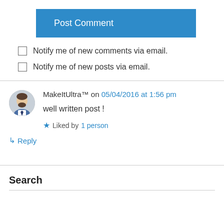[Figure (other): Blue 'Post Comment' button]
Notify me of new comments via email.
Notify me of new posts via email.
MakeItUltra™ on 05/04/2016 at 1:56 pm
well written post !
★ Liked by 1 person
↳ Reply
Search